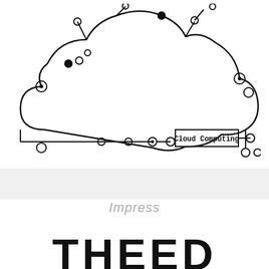[Figure (illustration): Cloud computing circuit-style illustration: a cloud outline made with smooth curves and circuit board lines with nodes (open and filled circles) at connection points. Inside the lower-right area of the cloud, the text 'Cloud Computing' appears in bold, inside a rectangular box with open circles at each end, connected by horizontal lines.]
Impress
THEED